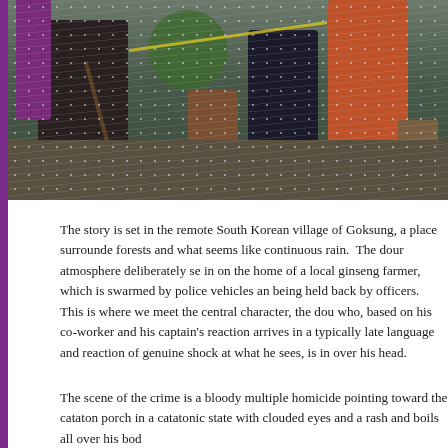[Figure (photo): A rainy scene in a South Korean village showing people on a wet porch/courtyard. A person crouching on the left, people in rain gear on the right, ceramic pots visible, rain falling heavily.]
The story is set in the remote South Korean village of Goksung, a place surrounded by forests and what seems like continuous rain.  The dour atmosphere deliberately settles in on the home of a local ginseng farmer, which is swarmed by police vehicles and being held back by officers.  This is where we meet the central character, the doughy who, based on his co-worker and his captain's reaction arrives in a typically late fashion, language and reaction of genuine shock at what he sees, is in over his head.
The scene of the crime is a bloody multiple homicide pointing toward the catatonic porch in a catatonic state with clouded eyes and a rash and boils all over his body.